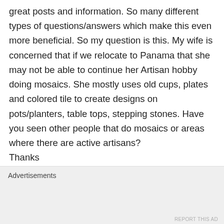great posts and information. So many different types of questions/answers which make this even more beneficial. So my question is this. My wife is concerned that if we relocate to Panama that she may not be able to continue her Artisan hobby doing mosaics. She mostly uses old cups, plates and colored tile to create designs on pots/planters, table tops, stepping stones. Have you seen other people that do mosaics or areas where there are active artisans?
Thanks
Like
Advertisements
REPORT THIS AD